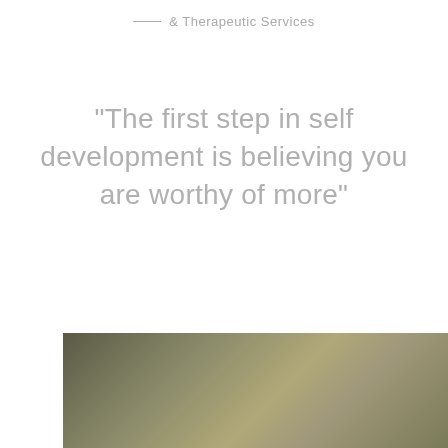— & Therapeutic Services
"The first step in self development is believing you are worthy of more"
[Figure (other): Social media icons: Facebook (f) and Instagram (camera icon) in grey, with a double chevron down arrow below]
[Figure (photo): Blurred olive/khaki colored background photo, partially visible at bottom of page]